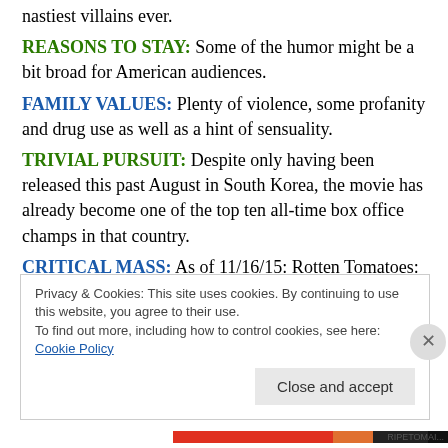nastiest villains ever.
REASONS TO STAY: Some of the humor might be a bit broad for American audiences.
FAMILY VALUES: Plenty of violence, some profanity and drug use as well as a hint of sensuality.
TRIVIAL PURSUIT: Despite only having been released this past August in South Korea, the movie has already become one of the top ten all-time box office champs in that country.
CRITICAL MASS: As of 11/16/15: Rotten Tomatoes: 83% positive reviews. Metacritic: No score yet.
Privacy & Cookies: This site uses cookies. By continuing to use this website, you agree to their use. To find out more, including how to control cookies, see here: Cookie Policy